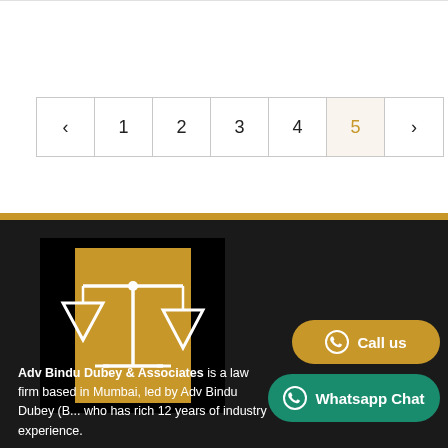[Figure (other): Pagination control showing pages < 1 2 3 4 5 > with page 5 highlighted in gold/tan color]
[Figure (logo): Adv Bindu Dubey & Associates logo — scales of justice icon in white on a tan/gold rectangle against black background]
[Figure (other): Call us button with WhatsApp icon, tan/gold pill shape]
[Figure (other): Whatsapp Chat button with WhatsApp icon, dark green pill shape]
Adv Bindu Dubey & Associates is a law firm based in Mumbai, led by Adv Bindu Dubey (B... who has rich 12 years of industry experience.